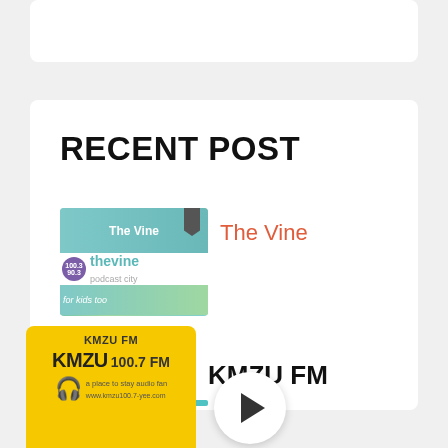[Figure (screenshot): Top white card placeholder area]
RECENT POST
[Figure (screenshot): The Vine radio station thumbnail image showing teal/green gradient background with 'The Vine' text, a purple circle logo with '100.3/90.3' and 'thevine' text, and a teal/green wave footer]
The Vine
[Figure (screenshot): KMZU FM radio station thumbnail with yellow background, KMZU 100.7 FM logo, headphone icon, and website URL]
KMZU FM
[Figure (other): Play button - circular white button with dark play triangle arrow]